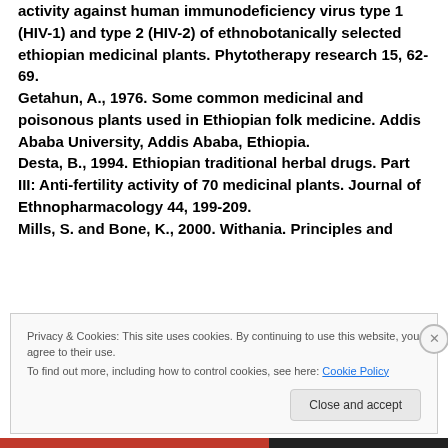activity against human immunodeficiency virus type 1 (HIV-1) and type 2 (HIV-2) of ethnobotanically selected ethiopian medicinal plants. Phytotherapy research 15, 62-69.
Getahun, A., 1976. Some common medicinal and poisonous plants used in Ethiopian folk medicine. Addis Ababa University, Addis Ababa, Ethiopia.
Desta, B., 1994. Ethiopian traditional herbal drugs. Part III: Anti-fertility activity of 70 medicinal plants. Journal of Ethnopharmacology 44, 199-209.
Mills, S. and Bone, K., 2000. Withania. Principles and
Privacy & Cookies: This site uses cookies. By continuing to use this website, you agree to their use.
To find out more, including how to control cookies, see here: Cookie Policy